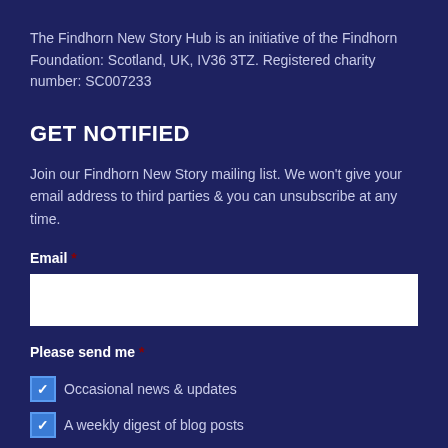The Findhorn New Story Hub is an initiative of the Findhorn Foundation: Scotland, UK, IV36 3TZ. Registered charity number: SC007233
GET NOTIFIED
Join our Findhorn New Story mailing list. We won't give your email address to third parties & you can unsubscribe at any time.
Email *
Please send me *
Occasional news & updates
A weekly digest of blog posts